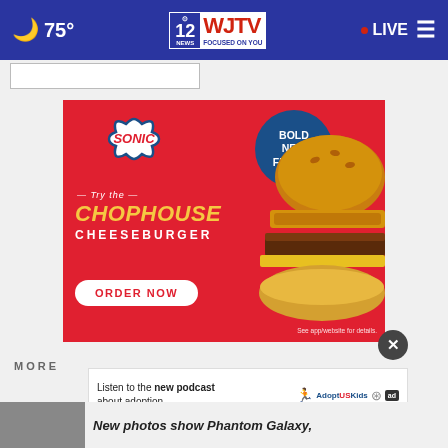75° WJTV 12 News Focused on You | LIVE
[Figure (advertisement): Sonic Drive-In advertisement for Chophouse Cheeseburger. Red background with Sonic logo, 'Bold New Flavor' in blue circle, burger image, text: Try the CHOPHOUSE CHEESEBURGER, ORDER NOW button, See app/website for details.]
Listen to the new podcast about adoption.
New photos show Phantom Galaxy,